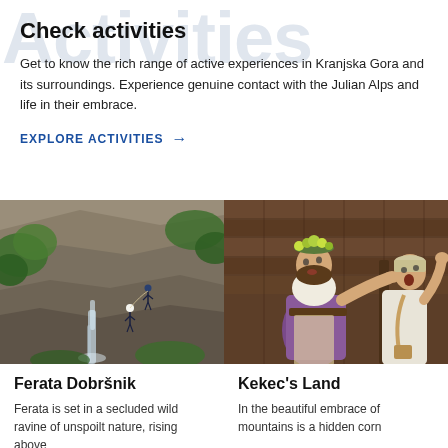Activities
Check activities
Get to know the rich range of active experiences in Kranjska Gora and its surroundings. Experience genuine contact with the Julian Alps and life in their embrace.
EXPLORE ACTIVITIES →
[Figure (photo): Rock climbing photo showing climbers ascending a steep rocky cliff face with a waterfall and lush green vegetation, in a wild mountain ravine]
Ferata Dobršnik
Ferata is set in a secluded wild ravine of unspoilt nature, rising above
[Figure (photo): Two performers in medieval/folk costumes acting on a wooden stage; one wears a floral crown and purple dress, the other wears white]
Kekec's Land
In the beautiful embrace of mountains is a hidden corn